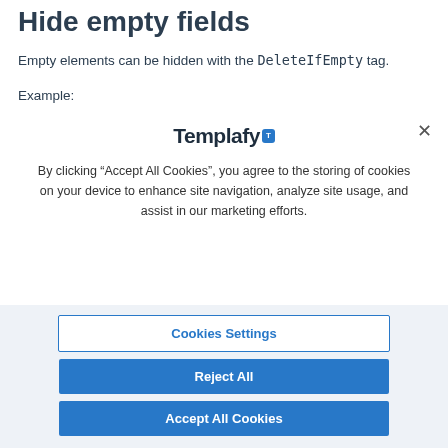Hide empty fields
Empty elements can be hidden with the DeleteIfEmpty tag.
Example:
[Figure (screenshot): Cookie consent modal dialog from Templafy website. Contains the Templafy logo at top, a close (×) button, body text about cookies, and three buttons: 'Cookies Settings', 'Reject All', and 'Accept All Cookies'.]